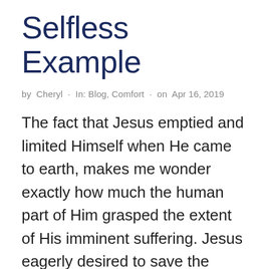Selfless Example
by Cheryl · In: Blog, Comfort · on Apr 16, 2019
The fact that Jesus emptied and limited Himself when He came to earth, makes me wonder exactly how much the human part of Him grasped the extent of His imminent suffering. Jesus eagerly desired to save the world, but as the end drew near, as Jesus talked to His Father in a garden reminiscent of the one where the first Adam hid from His Father, as Jesus